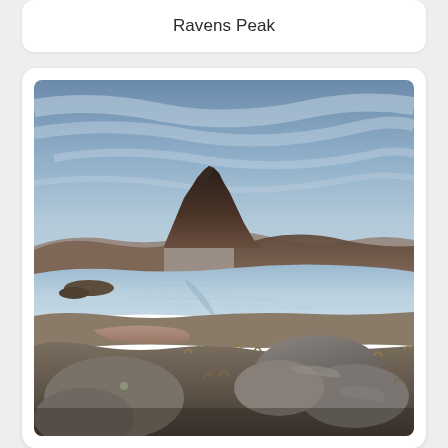Ravens Peak
[Figure (photo): Landscape photograph of a dramatic Scottish Highland scene featuring a distinctive peaked mountain (likely Stac Pollaidh) reflected in a still loch in the foreground, with rocky terrain and moorland vegetation in the lower portion, photographed at dusk or dawn with a moody blue-grey sky.]